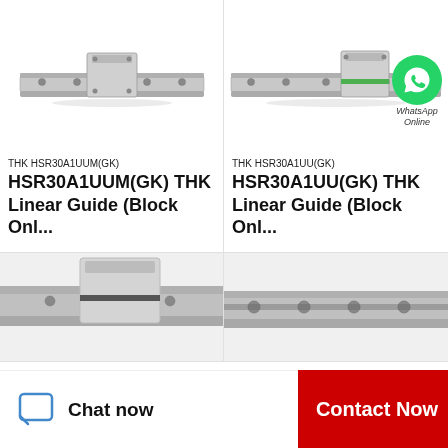[Figure (photo): THK HSR30A1UUM(GK) linear guide block on rail, silver/grey metal component, perspective view on white background]
THK HSR30A1UUM(GK)
HSR30A1UUM(GK) THK Linear Guide (Block Onl...
[Figure (photo): THK HSR30A1UU(GK) linear guide block on rail, silver/grey metal component, perspective view on white background, with WhatsApp Online logo overlay]
THK HSR30A1UU(GK)
HSR30A1UU(GK) THK Linear Guide (Block Onl...
[Figure (photo): Close-up cropped view of THK linear guide rail, silver metal, partial view]
[Figure (photo): Close-up cropped view of THK linear guide rail, silver metal with mounting holes, partial view]
Chat now
Contact Now